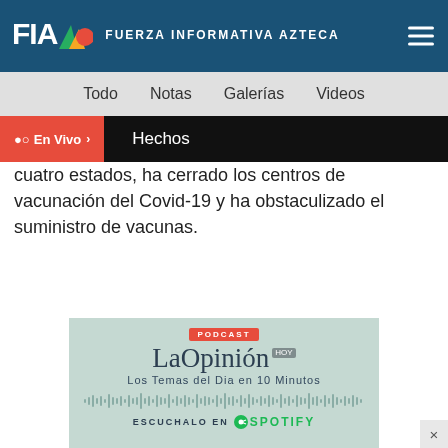FIA FUERZA INFORMATIVA AZTECA
Todo  Notas  Galerías  Videos
En Vivo  Hechos
cuatro estados, ha cerrado los centros de vacunación del Covid-19 y ha obstaculizado el suministro de vacunas.
[Figure (other): Podcast advertisement banner for LaOpinión HOY - Los Temas del Dia en 10 Minutos, Escúchalo en Spotify]